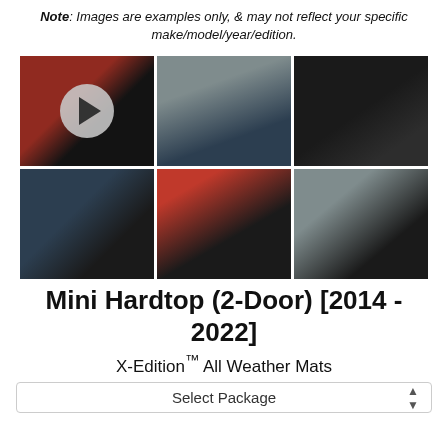Note: Images are examples only, & may not reflect your specific make/model/year/edition.
[Figure (photo): Grid of 6 product photos showing car floor mats and trunk liners installed in vehicles. First photo has a video play button overlay.]
Mini Hardtop (2-Door) [2014 - 2022]
X-Edition™ All Weather Mats
Select Package